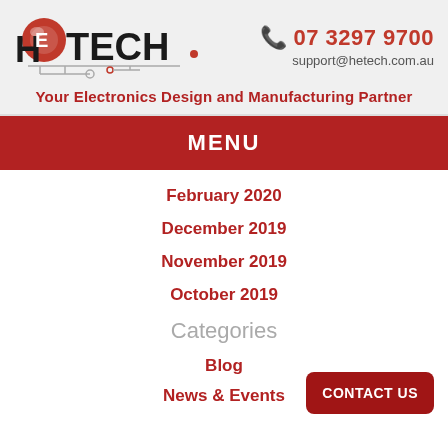[Figure (logo): HE-TECH logo with red globe and circuit board lines, company name in bold black text]
07 3297 9700
support@hetech.com.au
Your Electronics Design and Manufacturing Partner
MENU
February 2020
December 2019
November 2019
October 2019
Categories
Blog
News & Events
CONTACT US